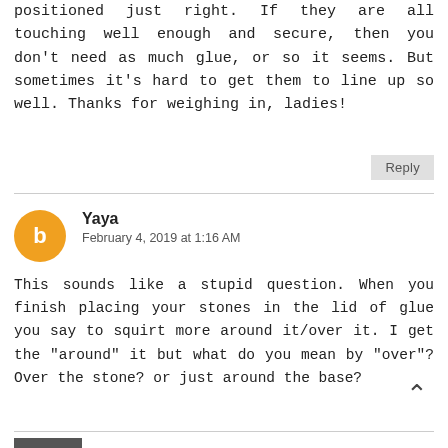positioned just right. If they are all touching well enough and secure, then you don't need as much glue, or so it seems. But sometimes it's hard to get them to line up so well. Thanks for weighing in, ladies!
Reply
Yaya
February 4, 2019 at 1:16 AM
This sounds like a stupid question. When you finish placing your stones in the lid of glue you say to squirt more around it/over it. I get the "around" it but what do you mean by "over"? Over the stone? or just around the base?